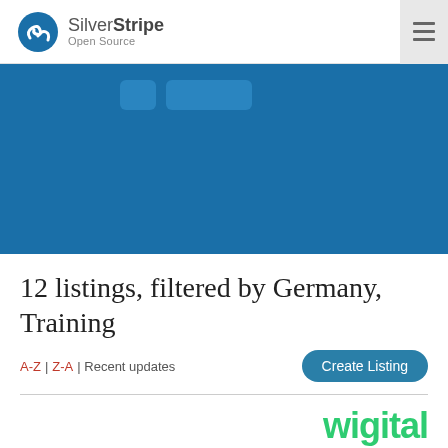SilverStripe Open Source
[Figure (screenshot): Blue banner with navigation buttons partially visible]
12 listings, filtered by Germany, Training
A-Z | Z-A | Recent updates
Create Listing
wigital
wigital GmbH →
Kiel Solutions Holding S...